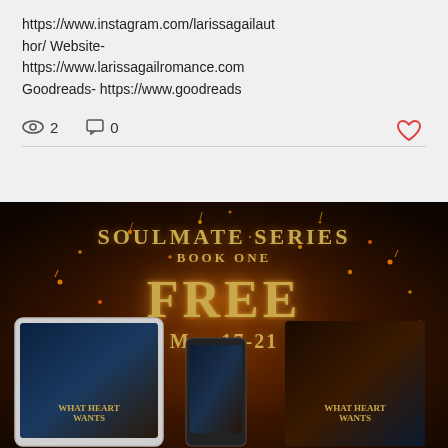https://www.instagram.com/larissagailauthor/ Website- https://www.larissagailromance.com Goodreads- https://www.goodreads
2  0
[Figure (screenshot): Promotional image for Soulmate Series Book One FREE May 17-21, showing book covers on tablet, phone, and standalone display against a dark fiery background with orange sparks. Book title visible: What Heart Wants.]